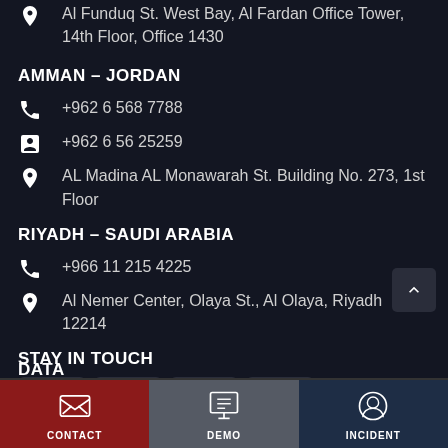Al Funduq St. West Bay, Al Fardan Office Tower, 14th Floor, Office 1430
AMMAN – JORDAN
+962 6 568 7788
+962 6 56 25259
AL Madina AL Monawarah St. Building No. 273, 1st Floor
RIYADH – SAUDI ARABIA
+966 11 215 4225
Al Nemer Center, Olaya St., Al Olaya, Riyadh 12214
STAY IN TOUCH
[Figure (other): Social media icons: Twitter, YouTube, LinkedIn, Facebook]
DATA
CONTACT | DEMO | INCIDENT